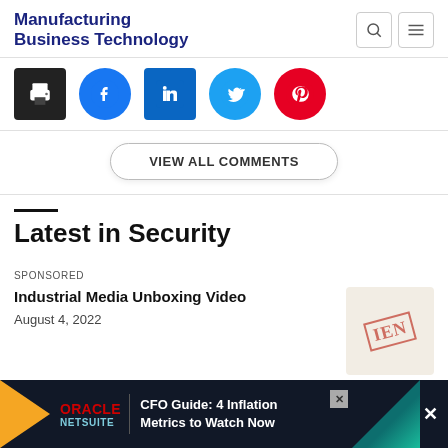Manufacturing Business Technology
[Figure (screenshot): Social share buttons: print (black), Facebook (blue circle), LinkedIn (blue square), Twitter (blue circle), Pinterest (red circle)]
VIEW ALL COMMENTS
Latest in Security
SPONSORED
Industrial Media Unboxing Video
August 4, 2022
[Figure (logo): IEN stamp logo on beige background]
This Bu... Explodi...
August 12, 2022
[Figure (infographic): Oracle NetSuite CFO Guide ad banner: CFO Guide: 4 Inflation Metrics to Watch Now]